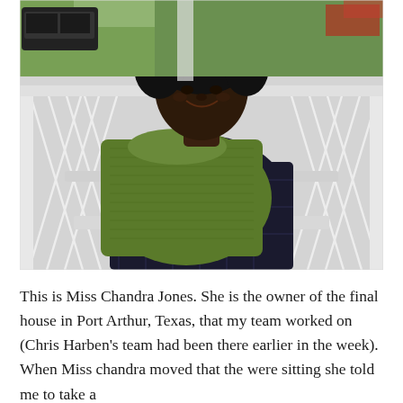[Figure (photo): A woman identified as Miss Chandra Jones sits smiling on a white lattice porch swing or bench outdoors. She has curly dark hair and is wearing a dark plaid shirt with a large olive/army green knitted wrap or shawl draped around her shoulders. The background shows green vegetation, a gravel driveway, and a parked dark SUV on the left.]
This is Miss Chandra Jones. She is the owner of the final house in Port Arthur, Texas, that my team worked on (Chris Harben's team had been there earlier in the week). When Miss chandra moved that the were sitting she told me to take a